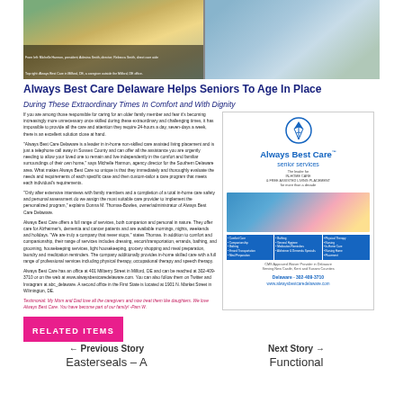[Figure (photo): Two photos side by side: left shows volunteers in aprons at an outdoor event; right shows the Always Best Care storefront with a person standing outside]
From left: Michelle Harmon, president; Adesina Smith, director; Rebecca Smith, direct care aide. Top right: Always Best Care in Milford, DE, and a caregiver.
Always Best Care Delaware Helps Seniors To Age In Place
During These Extraordinary Times In Comfort and With Dignity
If you are among those responsible for caring for an older family member and fear it's becoming increasingly more difficult, during these extraordinary and challenging times, it has impossible to provide all the care and attention they require 24-hours a day, seven-days a week, there is an excellent solution close at hand.
"Always Best Care Delaware is a leader in in-home non-skilled care assisted living placement and is just a telephone call away in Sussex County and can offer all the assistance you are urgently needing to allow your loved one to remain and live independently in the comfort and familiar surroundings of their own home," says Michelle Harmon, agency director for the Southern Delaware area. What makes Always Best Care so unique is that they immediately and thoroughly evaluate the needs and requirements of each specific case and then custom-tailor a care program that meets each individual's requirements.
"After after extensive interviews with family members and a completion of a total in-home care safety and personal assessment we assign the most suitable care provider to implement the personalized program," explains Donna M. Thomas-Bowles, owner/administrator of Always Best Care Delaware.
Always Best Care offers a full range of services, both companion and personal in nature. They offer care for Alzheimer's, dementia and cancer patients and are available mornings, nights, weekends and holidays. "We are truly a company that never stops," states Thomas. In addition to comfort and companionship, their range of services includes dressing, escort/transportation, errands, bathing, and grooming, housekeeping services, light housekeeping, grocery shopping and meal preparation, laundry and medication reminders. The company additionally provides in-home skilled care with a full range of professional services including physical therapy, occupational therapy and speech therapy.
Always Best Care has an office at 401 Milbery Street in Milford, DE and can be reached at 302-409-3710 or on the web at www.alwaysbestcaredelaware.com. You can also follow them on Twitter and Instagram at abc_delaware. A second office in the First State is located at 1901 N. Market Street in Wilmington, DE.
Testimonial: My Mom and Dad love all the caregivers and now treat them like daughters. We love Always Best Care. You have become part of our family! -Pam W.
[Figure (infographic): Always Best Care senior services advertisement with logo, photo of two smiling women, list of services, and contact information]
RELATED ITEMS
← Previous Story
Easterseals – A
Next Story →
Functional